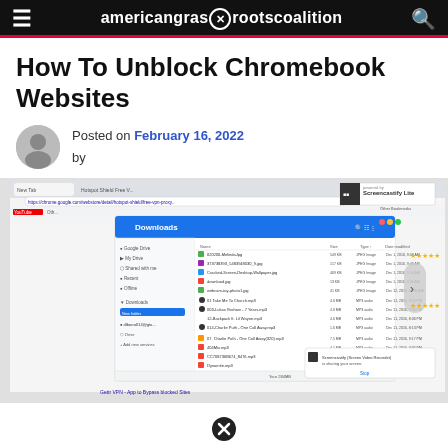americangrassrootscoalition
How To Unblock Chromebook Websites
Posted on February 16, 2022 by
[Figure (screenshot): Screenshot of a Chromebook browser window showing the Downloads folder in Google Chrome, with various files listed including JPEG images and MP3 audio files. A Screencastify Lite watermark is visible in the top right. A notification says 'Screencastify (Screen Video Recorder) is sharing your screen.']
[Figure (other): Close/X button circle at the bottom center of the page]